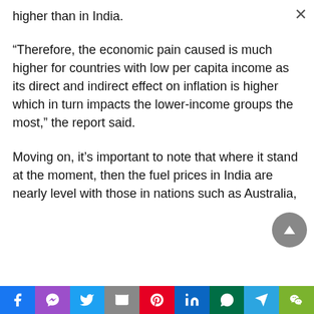higher than in India.
“Therefore, the economic pain caused is much higher for countries with low per capita income as its direct and indirect effect on inflation is higher which in turn impacts the lower-income groups the most,” the report said.
Moving on, it’s important to note that where it stand at the moment, then the fuel prices in India are nearly level with those in nations such as Australia,
Facebook Messenger Twitter Email Pinterest LinkedIn WhatsApp Telegram WeChat